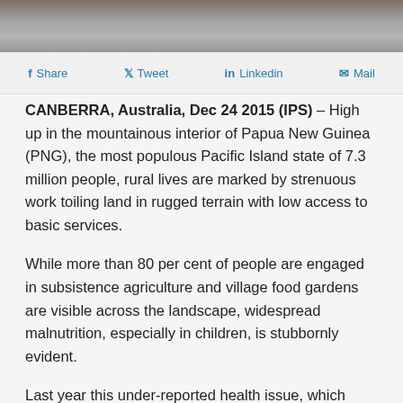[Figure (photo): Partial photograph strip at top of page showing rocky/mountainous terrain]
Share  Tweet  Linkedin  Mail
CANBERRA, Australia, Dec 24 2015 (IPS) – High up in the mountainous interior of Papua New Guinea (PNG), the most populous Pacific Island state of 7.3 million people, rural lives are marked by strenuous work toiling land in rugged terrain with low access to basic services.
While more than 80 per cent of people are engaged in subsistence agriculture and village food gardens are visible across the landscape, widespread malnutrition, especially in children, is stubbornly evident.
Last year this under-reported health issue, which contributes to nearly half of all hospital admissions, was declared a 'silent emergency' in the country by UNICEF. Dr Fiona Kupe, a paediatrician with the National Capital